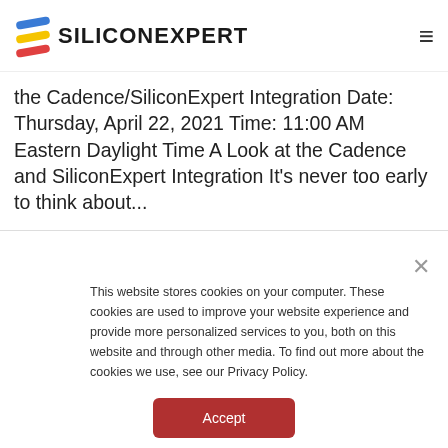SiliconExpert
the Cadence/SiliconExpert Integration Date: Thursday, April 22, 2021 Time: 11:00 AM Eastern Daylight Time A Look at the Cadence and SiliconExpert Integration It's never too early to think about...
This website stores cookies on your computer. These cookies are used to improve your website experience and provide more personalized services to you, both on this website and through other media. To find out more about the cookies we use, see our Privacy Policy.
Accept